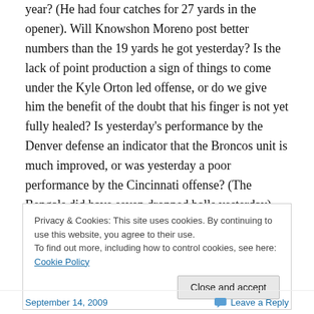year? (He had four catches for 27 yards in the opener). Will Knowshon Moreno post better numbers than the 19 yards he got yesterday?  Is the lack of point production a sign of things to come under the Kyle Orton led offense, or do we give him the benefit of the doubt that his finger is not yet fully healed?  Is yesterday's performance by the Denver defense an indicator that the Broncos unit is much improved, or was yesterday a poor performance by the Cincinnati offense?  (The Bengals did have seven dropped balls yesterday).  Lots of questions still remain in week
Privacy & Cookies: This site uses cookies. By continuing to use this website, you agree to their use.
To find out more, including how to control cookies, see here: Cookie Policy
September 14, 2009    Leave a Reply